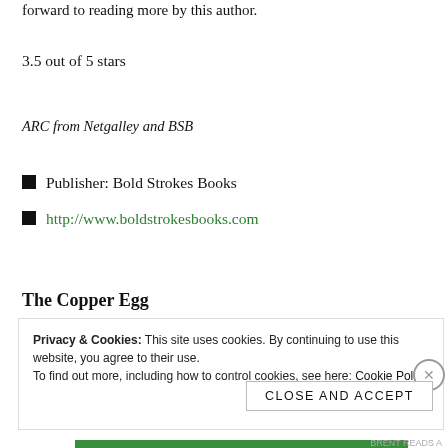forward to reading more by this author.
3.5 out of 5 stars
ARC from Netgalley and BSB
Publisher: Bold Strokes Books
http://www.boldstrokesbooks.com
The Copper Egg
Privacy & Cookies: This site uses cookies. By continuing to use this website, you agree to their use. To find out more, including how to control cookies, see here: Cookie Policy